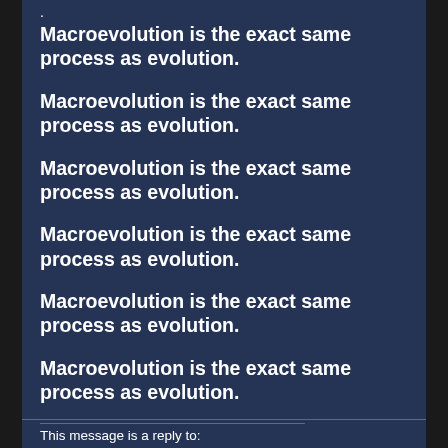Macroevolution is the exact same process as evolution.
Macroevolution is the exact same process as evolution.
Macroevolution is the exact same process as evolution.
Macroevolution is the exact same process as evolution.
Macroevolution is the exact same process as evolution.
Macroevolution is the exact same process as evolution.
This message is a reply to: